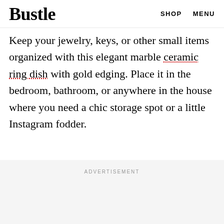Bustle  SHOP  MENU
Keep your jewelry, keys, or other small items organized with this elegant marble ceramic ring dish with gold edging. Place it in the bedroom, bathroom, or anywhere in the house where you need a chic storage spot or a little Instagram fodder.
ADVERTISEMENT